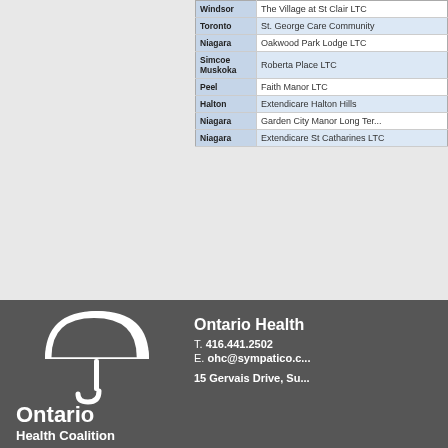| Region | Facility |
| --- | --- |
| Windsor | The Village at St Clair LTC |
| Toronto | St. George Care Community |
| Niagara | Oakwood Park Lodge LTC |
| Simcoe Muskoka | Roberta Place LTC |
| Peel | Faith Manor LTC |
| Halton | Extendicare Halton Hills |
| Niagara | Garden City Manor Long Ter... |
| Niagara | Extendicare St Catharines LTC |
Click here for printa...
OHC Events
View the OHC Events Calendar
[Figure (logo): Ontario Health Coalition umbrella logo in white on dark grey background]
Ontario Health Coalition
T. 416.441.2502
E. ohc@sympatico.c...
15 Gervais Drive, Su...